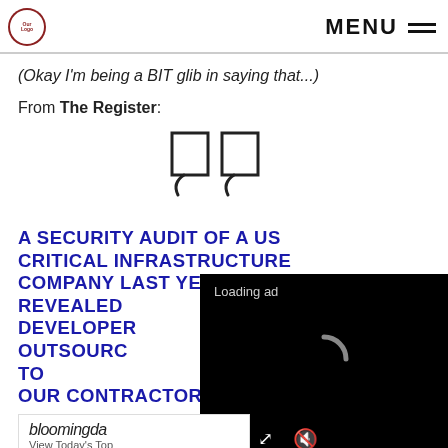MENU
(Okay I'm being a BIT glib in saying that...)
From The Register:
[Figure (illustration): Large decorative double closing quotation mark icon, outline style]
A SECURITY AUDIT OF A US CRITICAL INFRASTRUCTURE COMPANY LAST YEAR REVEALED DEVELOPERS OUTSOURCED TO...
[Figure (screenshot): Black ad video player overlay showing 'Loading ad' text, a spinner, and playback controls (pause, resize, mute)]
bloomingda... View Today's Top